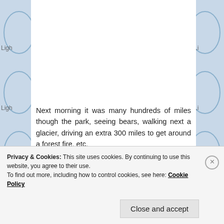Next morning it was many hundreds of miles though the park, seeing bears, walking next a glacier, driving an extra 300 miles to get around a forest fire, etc.
[Figure (photo): Mountain landscape with rocky peaks, snow patches, and blue sky with clouds]
Privacy & Cookies: This site uses cookies. By continuing to use this website, you agree to their use.
To find out more, including how to control cookies, see here: Cookie Policy